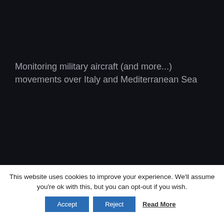Monitoring military aircraft (and more...) movements over Italy and Mediterranean Sea
[Figure (screenshot): Social media icons: Facebook (f), Twitter (bird), Instagram (circle with camera) on dark background]
This website uses cookies to improve your experience. We'll assume you're ok with this, but you can opt-out if you wish.
Accept   Reject   Read More